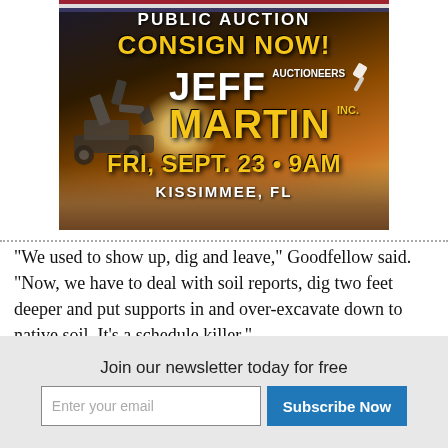[Figure (illustration): Jeff Martin Auctioneers public auction advertisement. Shows a construction excavator against a dramatic sunset sky with American flag. Text reads: PUBLIC AUCTION, CONSIGN NOW!, Jeff Martin Auctioneers Inc., FRI, SEPT. 23 • 9AM, KISSIMMEE, FL]
"We used to show up, dig and leave," Goodfellow said. "Now, we have to deal with soil reports, dig two feet deeper and put supports in and over-excavate down to native soil. It's a schedule killer."
Join our newsletter today for free